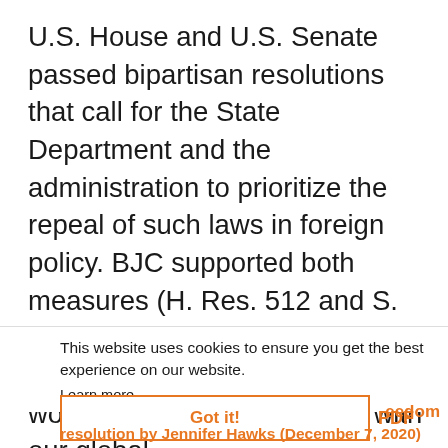U.S. House and U.S. Senate passed bipartisan resolutions that call for the State Department and the administration to prioritize the repeal of such laws in foreign policy. BJC supported both measures (H. Res. 512 and S. Res. 458). These laws still exist in more than 80 countries, so the work continues as we stand with our global
This website uses cookies to ensure you get the best experience on our website.
Learn more
Got it!
PDF
eedom
resolution by Jennifer Hawks (December 7, 2020)